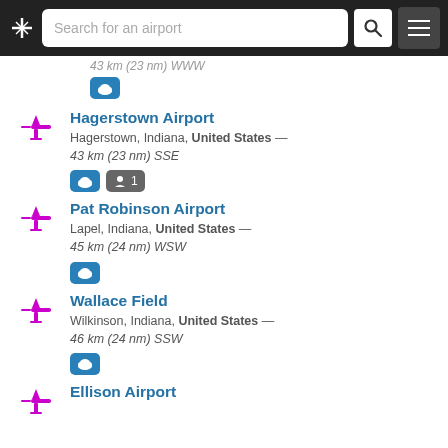Search for an airport
43 km (23 nm) SSE [truncated top]
Hagerstown Airport — Hagerstown, Indiana, United States — 43 km (23 nm) SSE
Pat Robinson Airport — Lapel, Indiana, United States — 45 km (24 nm) WSW
Wallace Field — Wilkinson, Indiana, United States — 46 km (24 nm) SSW
Ellison Airport